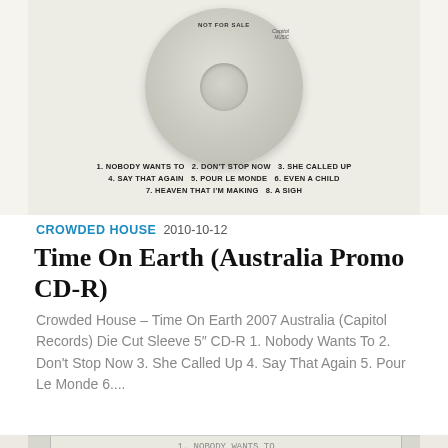[Figure (photo): Top portion of a promo CD disc showing label with text 'NOT FOR SALE' and track listing: 1. NOBODY WANTS TO  2. DON'T STOP NOW  3. SHE CALLED UP  4. SAY THAT AGAIN  5. POUR LE MONDE  6. EVEN A CHILD  7. HEAVEN THAT I'M MAKING  8. A SIGH]
CROWDED HOUSE  2010-10-12
Time On Earth (Australia Promo CD-R)
Crowded House – Time On Earth 2007 Australia (Capitol Records) Die Cut Sleeve 5″ CD-R 1. Nobody Wants To 2. Don't Stop Now 3. She Called Up 4. Say That Again 5. Pour Le Monde 6....
[Figure (photo): Bottom portion of a CD insert/booklet showing track listing in typewriter font: 1. NOBODY WANTS TO (partially visible), 2. DON'T STOP NOW – 1st single, 3. SHE CALLED UP, 4. SAY THAT AGAIN, 5. POUR LE MONDE, 6. EVEN A CHILD, 7. HEAVEN THAT I'M MAKING, 8. SILENT HOUSE, 9. ENGLISH TREES]